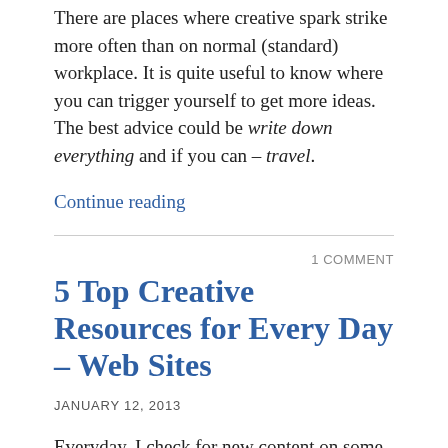There are places where creative spark strike more often than on normal (standard) workplace. It is quite useful to know where you can trigger yourself to get more ideas. The best advice could be write down everything and if you can – travel.
Continue reading
1 COMMENT
5 Top Creative Resources for Every Day – Web Sites
JANUARY 12, 2013
Everyday, I check for new content on some web-sites which are full of advices, new ideas, trends or just good